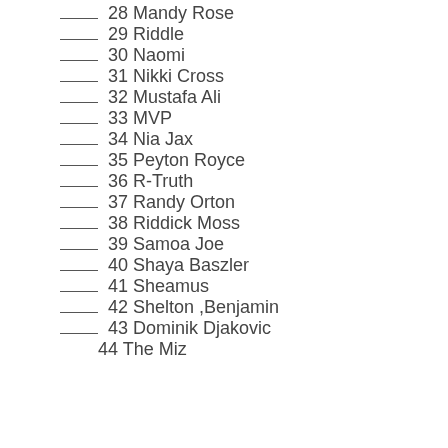___ 28 Mandy Rose
___ 29 Riddle
___ 30 Naomi
___ 31 Nikki Cross
___ 32 Mustafa Ali
___ 33 MVP
___ 34 Nia Jax
___ 35 Peyton Royce
___ 36 R-Truth
___ 37 Randy Orton
___ 38 Riddick Moss
___ 39 Samoa Joe
___ 40 Shaya Baszler
___ 41 Sheamus
___ 42 Shelton ,Benjamin
___ 43 Dominik Djakovic
44 The Miz